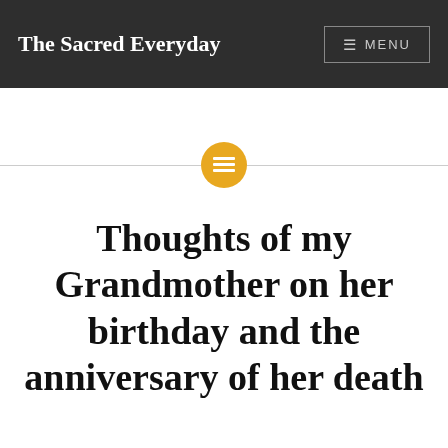The Sacred Everyday
[Figure (other): Decorative horizontal divider with a golden/amber circular icon containing a lines/list symbol in the center, flanked by thin gray horizontal lines on both sides]
Thoughts of my Grandmother on her birthday and the anniversary of her death